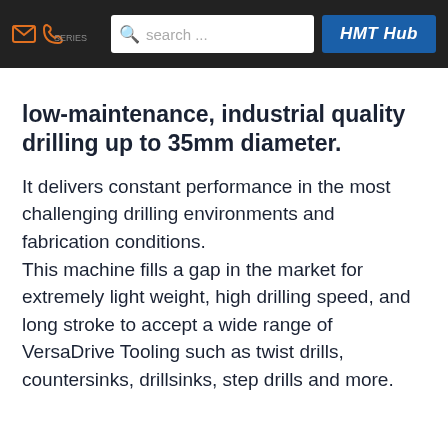search ... HMT Hub
low-maintenance, industrial quality drilling up to 35mm diameter.
It delivers constant performance in the most challenging drilling environments and fabrication conditions.
This machine fills a gap in the market for extremely light weight, high drilling speed, and long stroke to accept a wide range of VersaDrive Tooling such as twist drills, countersinks, drillsinks, step drills and more.